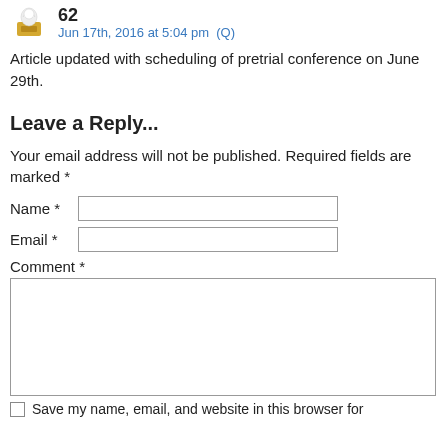62
Jun 17th, 2016 at 5:04 pm  (Q)
Article updated with scheduling of pretrial conference on June 29th.
Leave a Reply...
Your email address will not be published. Required fields are marked *
Name *
Email *
Comment *
Save my name, email, and website in this browser for